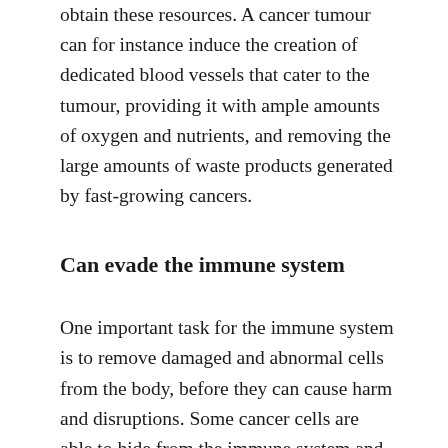obtain these resources. A cancer tumour can for instance induce the creation of dedicated blood vessels that cater to the tumour, providing it with ample amounts of oxygen and nutrients, and removing the large amounts of waste products generated by fast-growing cancers.
Can evade the immune system
One important task for the immune system is to remove damaged and abnormal cells from the body, before they can cause harm and disruptions. Some cancer cells are able to hide from the immune system and